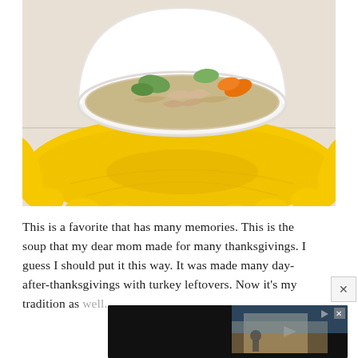[Figure (photo): A white ceramic bowl filled with soup containing noodles, shredded meat, orange carrots, green vegetables, placed on a bright yellow sunflower-shaped ceramic plate/platter on a light-colored tile surface.]
This is a favorite that has many memories. This is the soup that my dear mom made for many thanksgivings. I guess I should put it this way. It was made many day-after-thanksgivings with turkey leftovers. Now it's my tradition as well.
[Figure (screenshot): Advertisement banner reading 'FORWARD 2 SCHOOL' with dark background, showing children in front of a school building, with a red circular icon on the right side.]